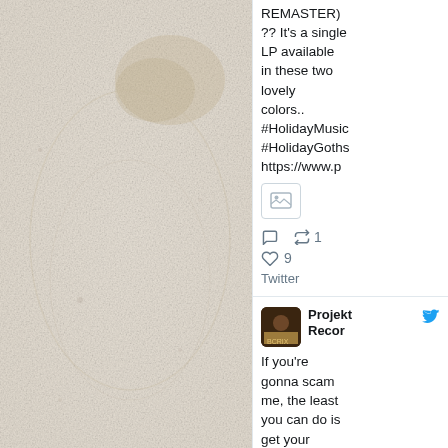[Figure (photo): A faded, textured light-colored background image showing a subtle circular/oval shape in beige and white tones, possibly a vinyl record or abstract design.]
REMASTER) ?? It's a single LP available in these two lovely colors.. #HolidayMusic #HolidayGoths https://www.p
[Figure (screenshot): Small thumbnail image icon placeholder]
♡  🔁 1
♡ 9
Twitter
Projekt Records
If you're gonna scam me, the least you can do is get your